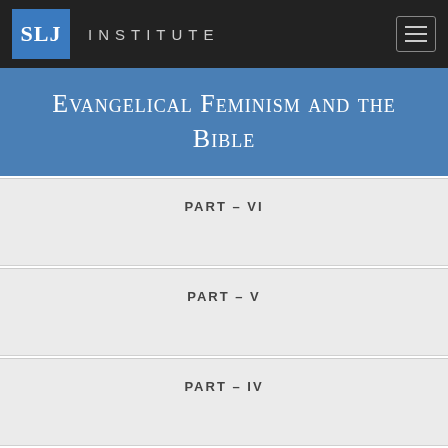SLJ INSTITUTE
Evangelical Feminism and the Bible
PART – VI
PART – V
PART – IV
PART – III